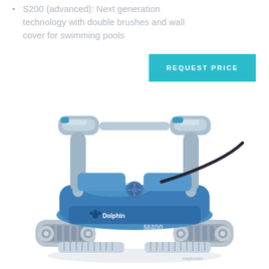S200 (advanced): Next generation technology with double brushes and wall cover for swimming pools
[Figure (other): A teal/cyan rectangular button labeled REQUEST PRICE in white uppercase bold letters on a cyan background]
[Figure (photo): Dolphin M400 robotic pool cleaner in blue and light grey, with dual handles/caddy frame at top, blue body with Dolphin logo and M400 label, grey brush tracks at bottom, power cord visible, white background]